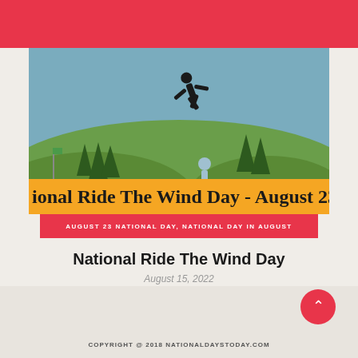☰ [navigation] 🔍 [search]
[Figure (photo): Outdoor action photo showing a person in mid-air jump against a mountainous backdrop with trees and blue sky. Overlaid with orange banner text 'National Ride The Wind Day - August 23' and a red sub-banner reading 'AUGUST 23 NATIONAL DAY, NATIONAL DAY IN AUGUST'.]
National Ride The Wind Day
August 15, 2022
COPYRIGHT @ 2018 NATIONALDAYSTODAY.COM